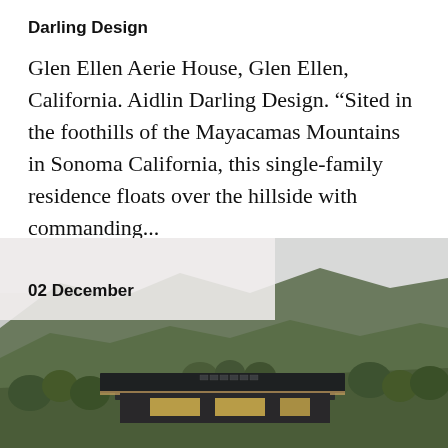Darling Design
Glen Ellen Aerie House, Glen Ellen, California. Aidlin Darling Design. “Sited in the foothills of the Mayacamas Mountains in Sonoma California, this single-family residence floats over the hillside with commanding...
2746   December 18, 2021   Architecture, Residential
02 December
[Figure (photo): Aerial-style photograph of a modern flat-roofed house sitting in a hillside surrounded by trees and mountains in the background, Sonoma, California.]